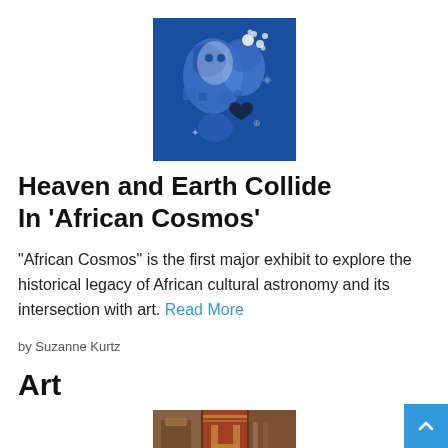[Figure (illustration): Blue artwork featuring African cosmic/cultural imagery with geometric patterns and symbols on a deep blue background]
Heaven and Earth Collide In ‘African Cosmos’
“African Cosmos” is the first major exhibit to explore the historical legacy of African cultural astronomy and its intersection with art. Read More
by Suzanne Kurtz
Art
[Figure (illustration): Artwork with warm tones showing architectural or typographic elements in browns, reds and golds]